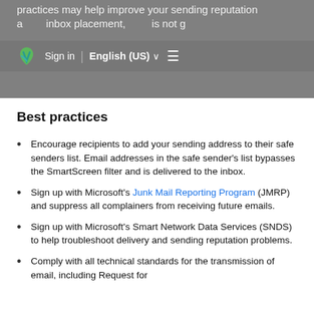practices may help improve your sending reputation and inbox placement, Sign in is not guaranteed.
Best practices
Encourage recipients to add your sending address to their safe senders list. Email addresses in the safe sender’s list bypasses the SmartScreen filter and is delivered to the inbox.
Sign up with Microsoft’s Junk Mail Reporting Program (JMRP) and suppress all complainers from receiving future emails.
Sign up with Microsoft’s Smart Network Data Services (SNDS) to help troubleshoot delivery and sending reputation problems.
Comply with all technical standards for the transmission of email, including Request for